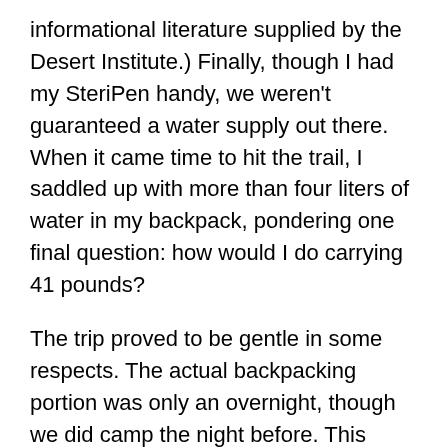informational literature supplied by the Desert Institute.) Finally, though I had my SteriPen handy, we weren't guaranteed a water supply out there. When it came time to hit the trail, I saddled up with more than four liters of water in my backpack, pondering one final question: how would I do carrying 41 pounds?
The trip proved to be gentle in some respects. The actual backpacking portion was only an overnight, though we did camp the night before. This gave us a chance to go over our gear, try things out, and discuss what should actually go with us–what should be left behind. Once we started walking, packs and all, we had a tentative goal of covering five miles. Tentative was the word. Robin insisted from the get-go, we would do what made sense for the group.
The day proved to be pretty warm, yet I felt capable. As I